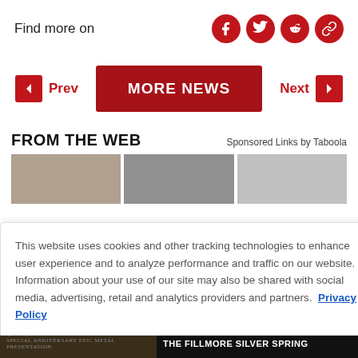Find more on
[Figure (infographic): Social sharing icons: Facebook, Twitter, Reddit, and a link/chain icon, all in red circles]
[Figure (infographic): Navigation bar with Prev button (left arrow + text), MORE NEWS center button (dark red), and Next button (text + right arrow)]
FROM THE WEB
Sponsored Links by Taboola
[Figure (photo): Three partially visible thumbnail images of web article previews]
This website uses cookies and other tracking technologies to enhance user experience and to analyze performance and traffic on our website. Information about your use of our site may also be shared with social media, advertising, retail and analytics providers and partners. Privacy Policy
[Figure (infographic): Advertisement banner for At The Gates concert, August 29, The Fillmore Silver Spring]